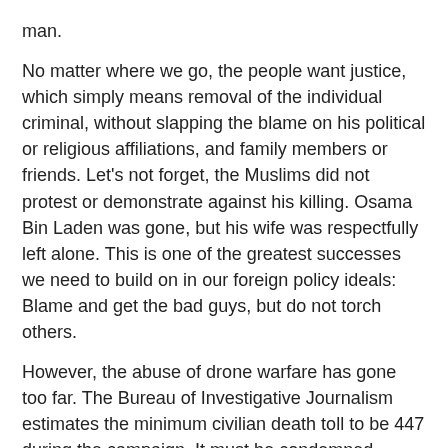man.
No matter where we go, the people want justice, which simply means removal of the individual criminal, without slapping the blame on his political or religious affiliations, and family members or friends. Let's not forget, the Muslims did not protest or demonstrate against his killing. Osama Bin Laden was gone, but his wife was respectfully left alone. This is one of the greatest successes we need to build on in our foreign policy ideals: Blame and get the bad guys, but do not torch others.
However, the abuse of drone warfare has gone too far. The Bureau of Investigative Journalism estimates the minimum civilian death toll to be 447 during the campaign. It must be condemned vigorously, and corrected instantly. We don't like the terrorist killing innocent men and women. Why should they like us when their innocents are being killed.
The president said on CNN, “It has to be a target that is authorized by and consistent with the that is reviewed and